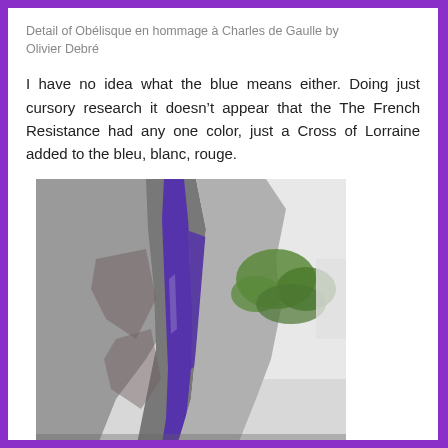Detail of Obélisque en hommage à Charles de Gaulle by Olivier Debré
I have no idea what the blue means either. Doing just cursory research it doesn't appear that the The French Resistance had any one color, just a Cross of Lorraine added to the bleu, blanc, rouge.
[Figure (photo): Close-up photograph of a stone sculpture/obelisk titled 'Obélisque en hommage à Charles de Gaulle' by Olivier Debré, showing rough grey stone forms with a prominent vertical stripe of deep blue/purple paint or pigment running through the center. Green trees are visible in the upper right background against a light sky.]